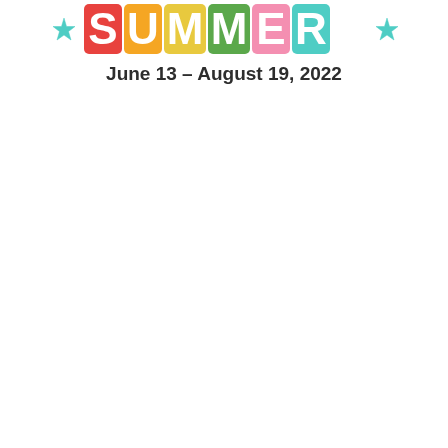[Figure (illustration): Colorful 'SUMMER' text logo with decorative letters in red, orange, yellow, green, teal, and pink, flanked by teal star icons on each side. Below it is the date text 'June 13 – August 19, 2022' in bold dark sans-serif font.]
June 13 – August 19, 2022